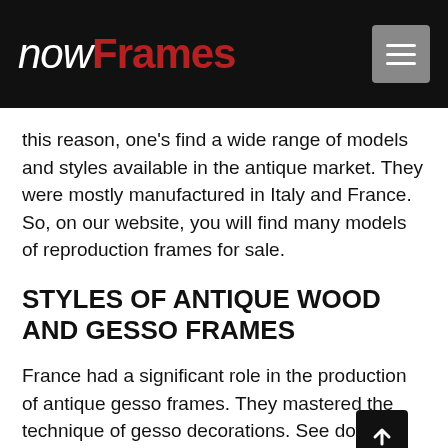nowFrames
this reason, one's find a wide range of models and styles available in the antique market. They were mostly manufactured in Italy and France. So, on our website, you will find many models of reproduction frames for sale.
STYLES OF ANTIQUE WOOD AND GESSO FRAMES
France had a significant role in the production of antique gesso frames. They mastered the technique of gesso decorations. See down below a